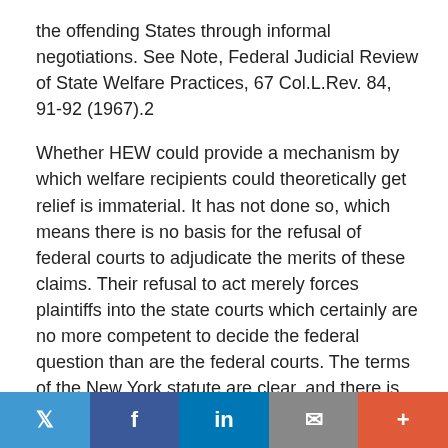the offending States through informal negotiations. See Note, Federal Judicial Review of State Welfare Practices, 67 Col.L.Rev. 84, 91-92 (1967).2
Whether HEW could provide a mechanism by which welfare recipients could theoretically get relief is immaterial. It has not done so, which means there is no basis for the refusal of federal courts to adjudicate the merits of these claims. Their refusal to act merely forces plaintiffs into the state courts which certainly are no more competent to decide the federal question than are the federal courts. The terms of the New York statute are clear, and there is no way in which a state court could interpret the challenged law in a way that would avoid the statutory claim pressed here. [397 U.S. 397 , 427] State participation in federal welfare programs is not required. States may choose not to apply for federal assistance or may join in some, but not all, of the various
Twitter | Facebook | LinkedIn | Email | +